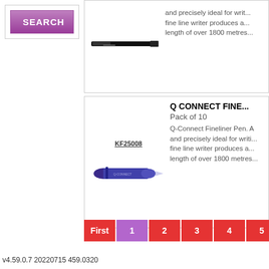[Figure (screenshot): Search button with purple gradient background]
[Figure (photo): Black fineliner pen image]
and precisely ideal for writ... fine line writer produces a... length of over 1800 metres...
KF25008
Q CONNECT FINE...
Pack of 10
[Figure (photo): Purple fineliner pen image]
Q-Connect Fineliner Pen. A and precisely ideal for writi... fine line writer produces a... length of over 1800 metres...
First  1  2  3  4  5  ...  Next >>
v4.59.0.7 20220715 459.0320